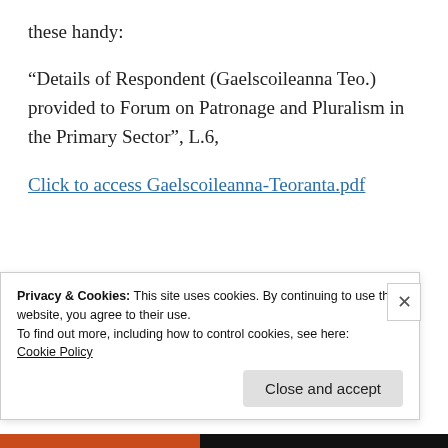these handy:
“Details of Respondent (Gaelscoileanna Teo.) provided to Forum on Patronage and Pluralism in the Primary Sector”, L.6,
Click to access Gaelscoileanna-Teoranta.pdf
http://www.gaelscoileanna.ie/en/about/
Privacy & Cookies: This site uses cookies. By continuing to use this website, you agree to their use.
To find out more, including how to control cookies, see here:
Cookie Policy